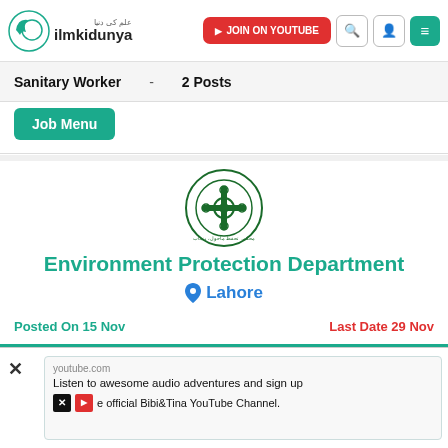[Figure (logo): ilmkidunya website logo with green crescent icon and Arabic/English text]
[Figure (screenshot): JOIN ON YOUTUBE red button, search icon, user icon, and hamburger menu icon in teal]
Sanitary Worker - 2 Posts
[Figure (illustration): Job Menu button in teal/green color]
[Figure (logo): Environment Protection Department circular green seal/logo]
Environment Protection Department
📍 Lahore
Posted On 15 Nov
Last Date 29 Nov
| Job Name | Study Level | Vacancies |
| --- | --- | --- |
[Figure (screenshot): Advertisement overlay showing youtube.com ad about Bibi&Tina YouTube Channel with X close button]